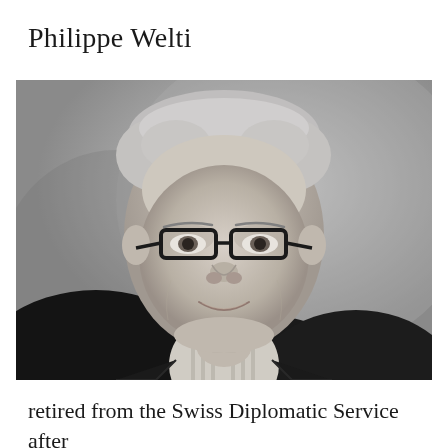Philippe Welti
[Figure (photo): Black and white professional headshot of Philippe Welti, an older gentleman with grey hair wearing glasses, a dark blazer, and a striped collared shirt, smiling at the camera against a grey background.]
retired from the Swiss Diplomatic Service after